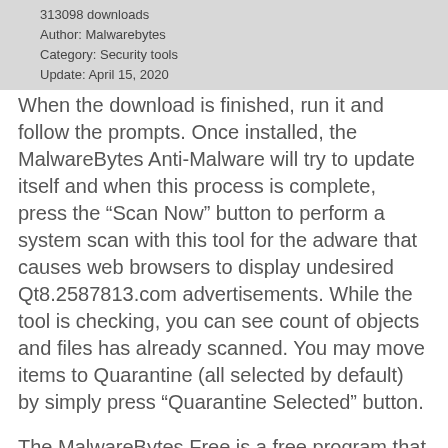313098 downloads
Author: Malwarebytes
Category: Security tools
Update: April 15, 2020
When the download is finished, run it and follow the prompts. Once installed, the MalwareBytes Anti-Malware will try to update itself and when this process is complete, press the “Scan Now” button to perform a system scan with this tool for the adware that causes web browsers to display undesired Qt8.2587813.com advertisements. While the tool is checking, you can see count of objects and files has already scanned. You may move items to Quarantine (all selected by default) by simply press “Quarantine Selected” button.
The MalwareBytes Free is a free program that you can use to delete all detected folders, files, services, registry entries and so on. To learn more about this malicious software removal tool, we recommend you